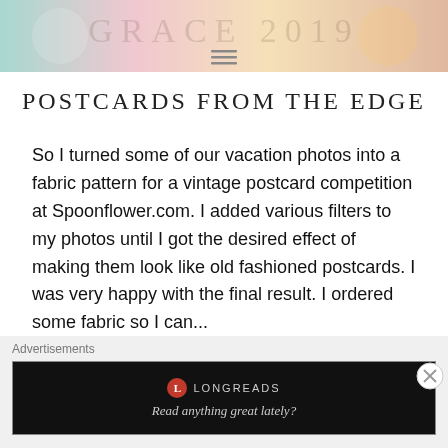[Figure (illustration): Decorative website header banner with vintage postcard style illustration featuring colorful floral/bird motifs and large text 'GRACE 2019' with a hamburger menu icon centered at bottom]
Postcards from the Edge
So I turned some of our vacation photos into a fabric pattern for a vintage postcard competition at Spoonflower.com. I added various filters to my photos until I got the desired effect of making them look like old fashioned postcards. I was very happy with the final result. I ordered some fabric so I can...
READ MORE
Advertisements
[Figure (screenshot): Longreads advertisement banner with dark background showing red circle logo, LONGREADS text, and tagline 'Read anything great lately?']